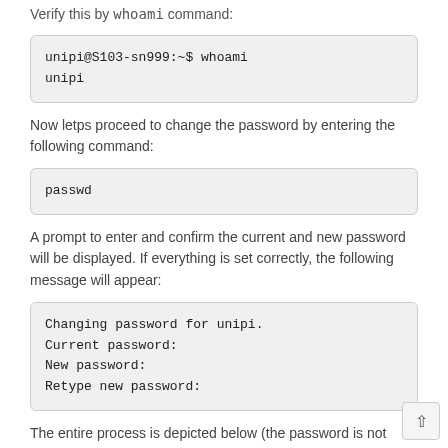Verify this by whoami command:
unipi@S103-sn999:~$ whoami
unipi
Now letps proceed to change the password by entering the following command:
passwd
A prompt to enter and confirm the current and new password will be displayed. If everything is set correctly, the following message will appear:
Changing password for unipi.
Current password:
New password:
Retype new password:
The entire process is depicted below (the password is not visible during its entering):